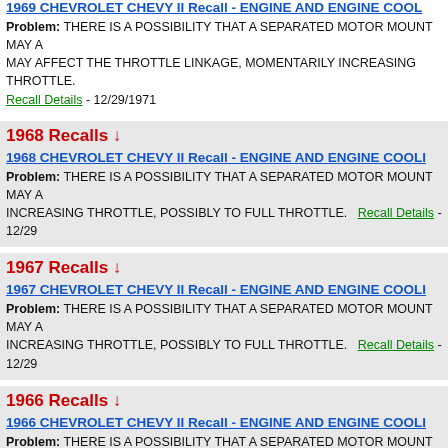1969 CHEVROLET CHEVY II Recall - ENGINE AND ENGINE COOL...
Problem: THERE IS A POSSIBILITY THAT A SEPARATED MOTOR MOUNT MAY A... MAY AFFECT THE THROTTLE LINKAGE, MOMENTARILY INCREASING THROTTLE. Recall Details - 12/29/1971
1968 Recalls ↓
1968 CHEVROLET CHEVY II Recall - ENGINE AND ENGINE COOL...
Problem: THERE IS A POSSIBILITY THAT A SEPARATED MOTOR MOUNT MAY A... INCREASING THROTTLE, POSSIBLY TO FULL THROTTLE. Recall Details - 12/29...
1967 Recalls ↓
1967 CHEVROLET CHEVY II Recall - ENGINE AND ENGINE COOL...
Problem: THERE IS A POSSIBILITY THAT A SEPARATED MOTOR MOUNT MAY A... INCREASING THROTTLE, POSSIBLY TO FULL THROTTLE. Recall Details - 12/29...
1966 Recalls ↓
1966 CHEVROLET CHEVY II Recall - ENGINE AND ENGINE COOL...
Problem: THERE IS A POSSIBILITY THAT A SEPARATED MOTOR MOUNT MAY A... INCREASING THROTTLE, POSSIBLY TO FULL THROTTLE. Recall Details - 12/29...
1965 Recalls ↓
1965 CHEVROLET CHEVY II Recall - ENGINE AND ENGINE COOL...
Problem: THERE IS A POSSIBILITY THAT A SEPARATED MOTOR MOUNT MAY A... INCREASING THROTTLE, POSSIBLY TO FULL THROTTLE. Recall Details - 12/29...